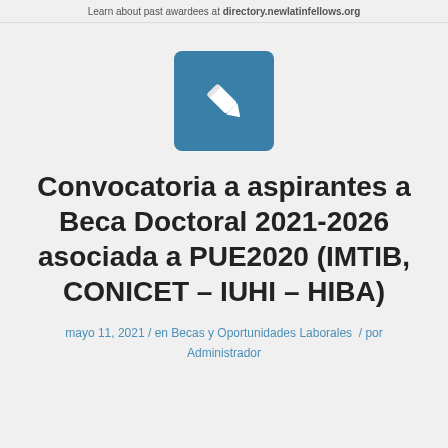Learn about past awardees at directory.newlatinfellows.org
[Figure (illustration): Blue rounded square icon with a white pencil/edit symbol in the center]
Convocatoria a aspirantes a Beca Doctoral 2021-2026 asociada a PUE2020 (IMTIB, CONICET – IUHI – HIBA)
mayo 11, 2021 / en Becas y Oportunidades Laborales / por Administrador